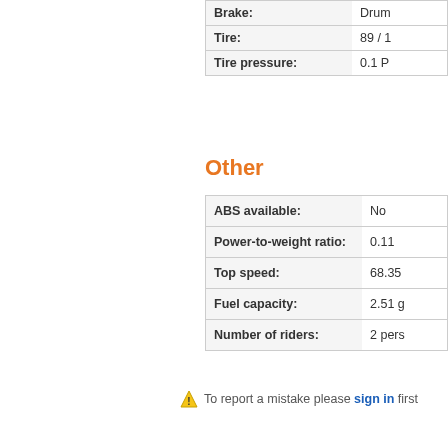| Property | Value |
| --- | --- |
| Brake: | Drum |
| Tire: | 89 / 1 |
| Tire pressure: | 0.1 P |
Other
| Property | Value |
| --- | --- |
| ABS available: | No |
| Power-to-weight ratio: | 0.11 |
| Top speed: | 68.35 |
| Fuel capacity: | 2.51 g |
| Number of riders: | 2 pers |
To report a mistake please sign in first